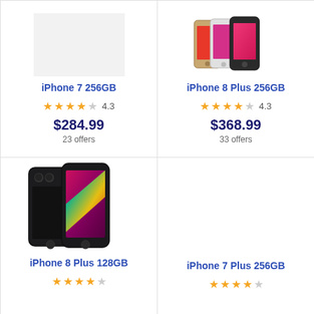[Figure (photo): iPhone 7 256GB product image placeholder (light gray box)]
iPhone 7 256GB
★★★★☆ 4.3
$284.99
23 offers
[Figure (photo): iPhone 8 Plus 256GB product photo showing multiple iPhones in gold and space gray colors]
iPhone 8 Plus 256GB
★★★★☆ 4.3
$368.99
33 offers
[Figure (photo): iPhone 8 Plus 128GB product photo showing two iPhones in space gray with colorful screen]
iPhone 8 Plus 128GB
★★★★☆
[Figure (photo): iPhone 7 Plus 256GB product image (blank/white area)]
iPhone 7 Plus 256GB
★★★★☆